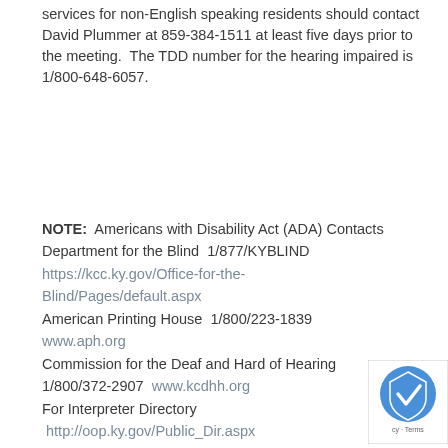services for non-English speaking residents should contact David Plummer at 859-384-1511 at least five days prior to the meeting.  The TDD number for the hearing impaired is 1/800-648-6057.
NOTE:  Americans with Disability Act (ADA) Contacts Department for the Blind  1/877/KYBLIND https://kcc.ky.gov/Office-for-the-Blind/Pages/default.aspx American Printing House  1/800/223-1839 www.aph.org Commission for the Deaf and Hard of Hearing 1/800/372-2907 www.kcdhh.org For Interpreter Directory  http://oop.ky.gov/Public_Dir.aspx State Relay TDD Number  1/800/648-6057
[Figure (logo): reCAPTCHA logo badge in the bottom-right corner with 'cy - Terms' text]